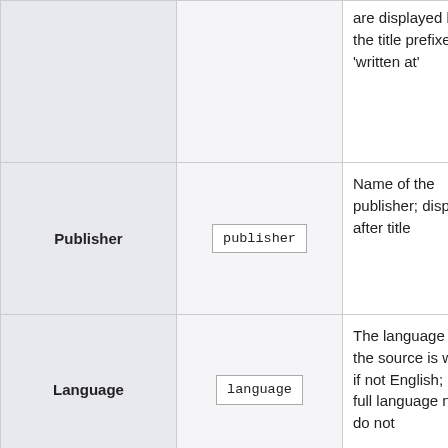| Parameter | Field | Description |
| --- | --- | --- |
|  |  | are displayed before the title prefixed with 'written at' |
| Publisher | publisher | Name of the publisher; displays after title |
| Language | language | The language which the source is written, if not English; use the full language name; do not |